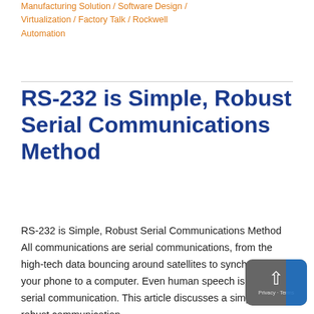Manufacturing Solution / Software Design / Virtualization / Factory Talk / Rockwell Automation
RS-232 is Simple, Robust Serial Communications Method
RS-232 is Simple, Robust Serial Communications Method All communications are serial communications, from the high-tech data bouncing around satellites to synchronizing your phone to a computer. Even human speech is a form of serial communication. This article discusses a simple yet robust communication